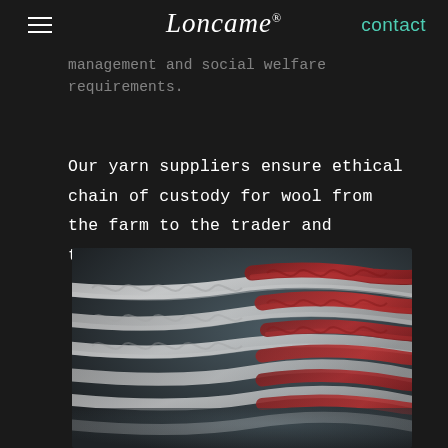Loncame® contact
management and social welfare requirements.
Our yarn suppliers ensure ethical chain of custody for wool from the farm to the trader and throughout yarn processing.
[Figure (photo): Close-up photograph of knitted wool yarn in white/grey and red colors against a dark background]